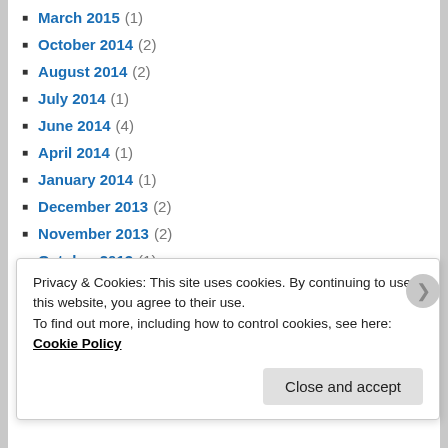March 2015 (1)
October 2014 (2)
August 2014 (2)
July 2014 (1)
June 2014 (4)
April 2014 (1)
January 2014 (1)
December 2013 (2)
November 2013 (2)
October 2013 (1)
September 2013 (2)
August 2013 (3)
July 2013 (1)
June 2013 (3)
Privacy & Cookies: This site uses cookies. By continuing to use this website, you agree to their use. To find out more, including how to control cookies, see here: Cookie Policy